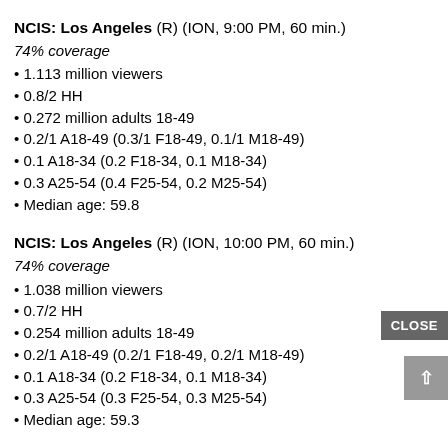NCIS: Los Angeles (R) (ION, 9:00 PM, 60 min.)
74% coverage
1.113 million viewers
0.8/2 HH
0.272 million adults 18-49
0.2/1 A18-49 (0.3/1 F18-49, 0.1/1 M18-49)
0.1 A18-34 (0.2 F18-34, 0.1 M18-34)
0.3 A25-54 (0.4 F25-54, 0.2 M25-54)
Median age: 59.8
NCIS: Los Angeles (R) (ION, 10:00 PM, 60 min.)
74% coverage
1.038 million viewers
0.7/2 HH
0.254 million adults 18-49
0.2/1 A18-49 (0.2/1 F18-49, 0.2/1 M18-49)
0.1 A18-34 (0.2 F18-34, 0.1 M18-34)
0.3 A25-54 (0.3 F25-54, 0.3 M25-54)
Median age: 59.3
La Rosa de Guadalupe (Univision, 7:00 PM, 60 min.)
66% coverage
1.343 million viewers
0.8/2 HH
0.575 million adults 18-49